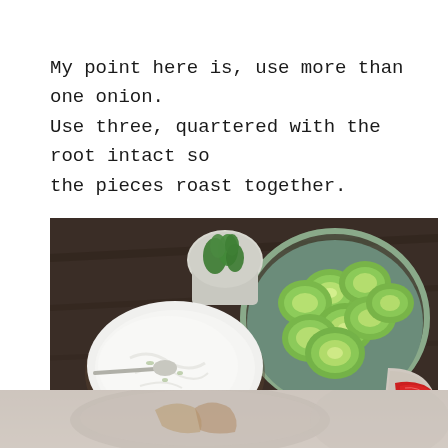My point here is, use more than one onion. Use three, quartered with the root intact so the pieces roast together.
[Figure (photo): Top-down view of food ingredients on a dark wooden table: a bowl of sliced cucumbers, a small cup of fresh herbs (cilantro/mint), a white bowl of white creamy dip/sauce with a spoon, a partial view of roasted quartered onions in a pan, and a partial view of sliced red peppers in a bowl. Bottom portion shows a lighter continuation of the food scene.]